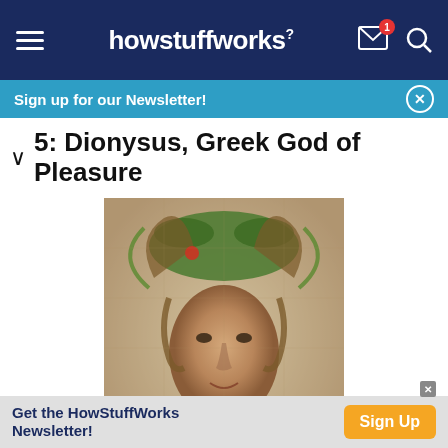howstuffworks
Sign up for our Newsletter!
5: Dionysus, Greek God of Pleasure
[Figure (photo): A mosaic portrait of Dionysus, the Greek god of pleasure, depicted with a wreath of leaves and flowers on his head, curly hair, and draped in foliage.]
A mosaic of the party god Dionysus, known in Rome (where
Get the HowStuffWorks Newsletter!  Sign Up